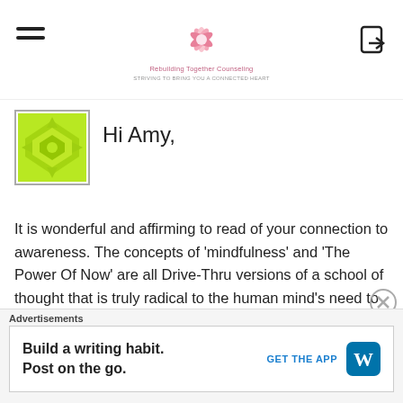Rebuilding Together Counseling
Hi Amy,
It is wonderful and affirming to read of your connection to awareness. The concepts of 'mindfulness' and 'The Power Of Now' are all Drive-Thru versions of a school of thought that is truly radical to the human mind's need to analyze and fragment our existence. As an E/INFP I suggest you check out an East Indian philosopher who is not Hindu, Buddhist or Muslim named Jiddu Krishnamurti. The book of two conversations with with Jacob Needleman, the head of
Advertisements
Build a writing habit. Post on the go. GET THE APP